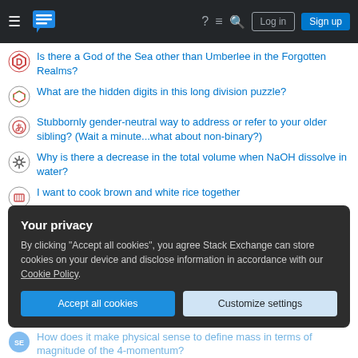Stack Exchange navigation bar with logo, icons, Log in and Sign up buttons
Is there a God of the Sea other than Umberlee in the Forgotten Realms?
What are the hidden digits in this long division puzzle?
Stubbornly gender-neutral way to address or refer to your older sibling? (Wait a minute...what about non-binary?)
Why is there a decrease in the total volume when NaOH dissolve in water?
I want to cook brown and white rice together
How to know if this is a band-pass filter?
How do daily push-ups (as in army bootcamp) lead to muscle growth
Your privacy
By clicking "Accept all cookies", you agree Stack Exchange can store cookies on your device and disclose information in accordance with our Cookie Policy.
How does it make physical sense to define mass in terms of magnitude of the 4-momentum?